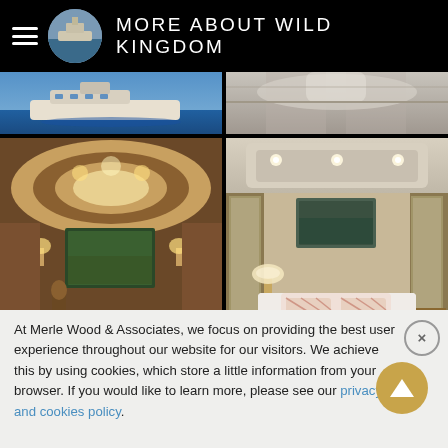MORE ABOUT WILD KINGDOM
[Figure (photo): Top strip photo left - yacht exterior on blue water]
[Figure (photo): Top strip photo right - yacht interior ceiling/deck]
[Figure (photo): Yacht dining room interior with large oval dining table, wood paneling, wall sconces, framed artwork, upholstered chairs]
[Figure (photo): Yacht master stateroom with floral bedspread, recessed ceiling with lighting, mirrored wardrobes, wood dresser]
At Merle Wood & Associates, we focus on providing the best user experience throughout our website for our visitors. We achieve this by using cookies, which store a little information from your browser. If you would like to learn more, please see our privacy and cookies policy.